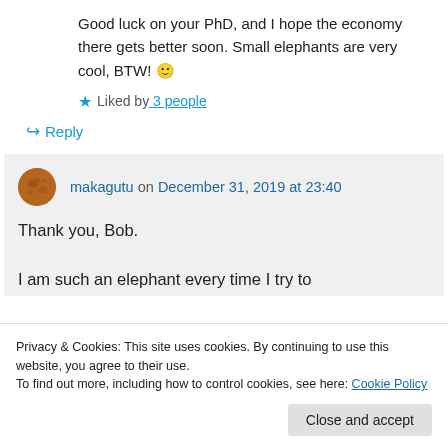Good luck on your PhD, and I hope the economy there gets better soon. Small elephants are very cool, BTW! 🙂
★ Liked by 3 people
↪ Reply
makagutu on December 31, 2019 at 23:40
Thank you, Bob.
I am such an elephant every time I try to
Privacy & Cookies: This site uses cookies. By continuing to use this website, you agree to their use.
To find out more, including how to control cookies, see here: Cookie Policy
Close and accept